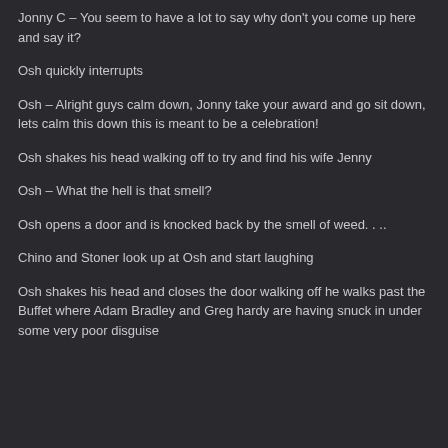Jonny C – You seem to have a lot to say why don't you come up here and say it?
Osh quickly interrupts
Osh – Alright guys calm down, Jonny take your award and go sit down, lets calm this down this is meant to be a celebration!
Osh shakes his head walking off to try and find his wife Jenny
Osh – What the hell is that smell?
Osh opens a door and is knocked back by the smell of weed. . ..
Chino and Stoner look up at Osh and start laughing
Osh shakes his head and closes the door walking off he walks past the Buffet where Adam Bradley and Greg hardy are having snuck in under some very poor disguise